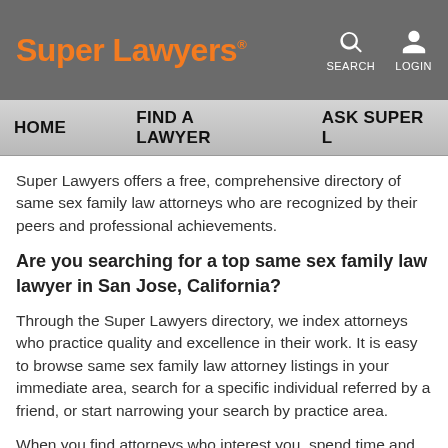Super Lawyers® — SEARCH  LOGIN
HOME   FIND A LAWYER   ASK SUPER L…
Super Lawyers offers a free, comprehensive directory of same sex family law attorneys who are recognized by their peers and professional achievements.
Are you searching for a top same sex family law lawyer in San Jose, California?
Through the Super Lawyers directory, we index attorneys who practice quality and excellence in their work. It is easy to browse same sex family law attorney listings in your immediate area, search for a specific individual referred by a friend, or start narrowing your search by practice area.
When you find attorneys who interest you, spend time and